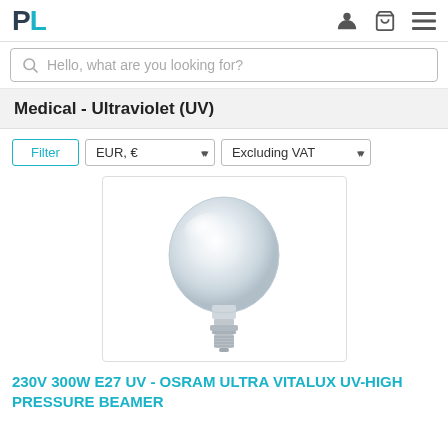PL [logo] | user icon | cart icon | menu icon
Hello, what are you looking for?
Medical - Ultraviolet (UV)
Filter | EUR, € ▾ | Excluding VAT ▾
[Figure (photo): UV high-pressure beamer lamp (OSRAM Ultra Vitalux), a round frosted glass bulb with E27 screw base, shown on white background]
230V 300W E27 UV - OSRAM ULTRA VITALUX UV-HIGH PRESSURE BEAMER